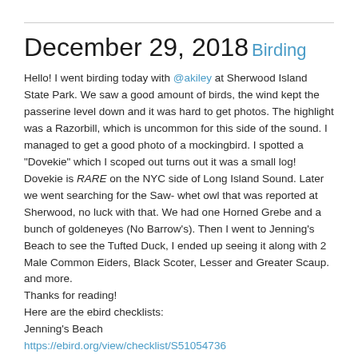December 29, 2018
Birding
Hello! I went birding today with @akiley at Sherwood Island State Park. We saw a good amount of birds, the wind kept the passerine level down and it was hard to get photos. The highlight was a Razorbill, which is uncommon for this side of the sound. I managed to get a good photo of a mockingbird. I spotted a "Dovekie" which I scoped out turns out it was a small log! Dovekie is RARE on the NYC side of Long Island Sound. Later we went searching for the Saw- whet owl that was reported at Sherwood, no luck with that. We had one Horned Grebe and a bunch of goldeneyes (No Barrow's). Then I went to Jenning's Beach to see the Tufted Duck, I ended up seeing it along with 2 Male Common Eiders, Black Scoter, Lesser and Greater Scaup. and more.
Thanks for reading!
Here are the ebird checklists:
Jenning's Beach
https://ebird.org/view/checklist/S51054736